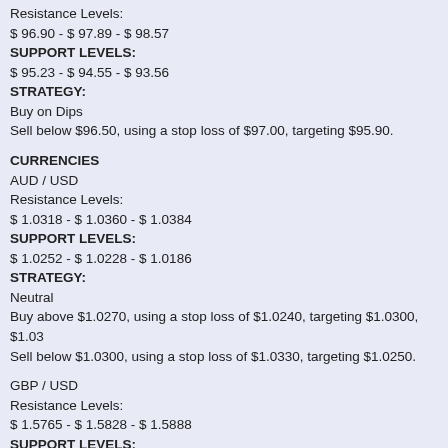Resistance Levels:
$ 96.90 - $ 97.89 - $ 98.57
SUPPORT LEVELS:
$ 95.23 - $ 94.55 - $ 93.56
STRATEGY:
Buy on Dips
Sell below $96.50, using a stop loss of $97.00, targeting $95.90.
CURRENCIES
AUD / USD
Resistance Levels:
$ 1.0318 - $ 1.0360 - $ 1.0384
SUPPORT LEVELS:
$ 1.0252 - $ 1.0228 - $ 1.0186
STRATEGY:
Neutral
Buy above $1.0270, using a stop loss of $1.0240, targeting $1.0300, $1.03
Sell below $1.0300, using a stop loss of $1.0330, targeting $1.0250.
GBP / USD
Resistance Levels:
$ 1.5765 - $ 1.5828 - $ 1.5888
SUPPORT LEVELS:
$ 1.5642 - $ 1.5582 - $ 1.5519
STRATEGY:
Buy on Dips
Buy above $1.5680, using a stop loss of $1.5620, targeting $1.5770.
EURO / USD
Resistance Levels:
$ 1.3515 - $ 1.3649 - $ 1.3722